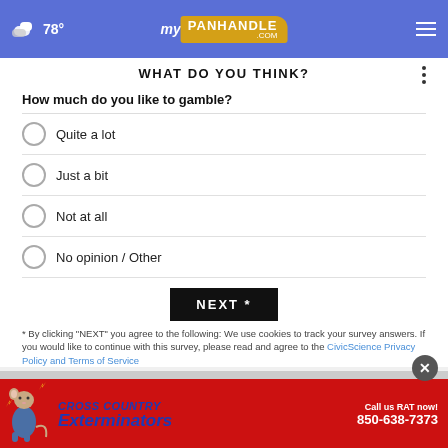78° myPANHANDLE.com
WHAT DO YOU THINK?
How much do you like to gamble?
Quite a lot
Just a bit
Not at all
No opinion / Other
NEXT *
* By clicking "NEXT" you agree to the following: We use cookies to track your survey answers. If you would like to continue with this survey, please read and agree to the CivicScience Privacy Policy and Terms of Service
[Figure (illustration): Cross Country Exterminators advertisement banner. Red background with cartoon rat mascot, text reading CROSS COUNTRY Exterminators, Call us RAT now! 850-638-7373]